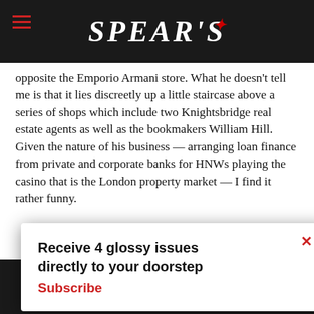SPEAR'S
opposite the Emporio Armani store. What he doesn't tell me is that it lies discreetly up a little staircase above a series of shops which include two Knightsbridge real estate agents as well as the bookmakers William Hill. Given the nature of his business — arranging loan finance from private and corporate banks for HNWs playing the casino that is the London property market — I find it rather funny.
Receive 4 glossy issues directly to your doorstep Subscribe
Continue  Learn more